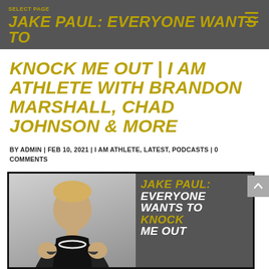SELECT PAGE | JAKE PAUL: EVERYONE WANTS TO
KNOCK ME OUT | I AM ATHLETE WITH BRANDON MARSHALL, CHAD JOHNSON & MORE
BY ADMIN | FEB 10, 2021 | I AM ATHLETE, LATEST, PODCASTS | 0 COMMENTS
[Figure (photo): Podcast cover art showing Jake Paul in boxing stance with fists raised, wearing a black t-shirt and chain necklace. White/gray background on left side. Right side has dark overlay with text: JAKE PAUL: EVERYONE WANTS TO KNOCK ME OUT in white and gold.]